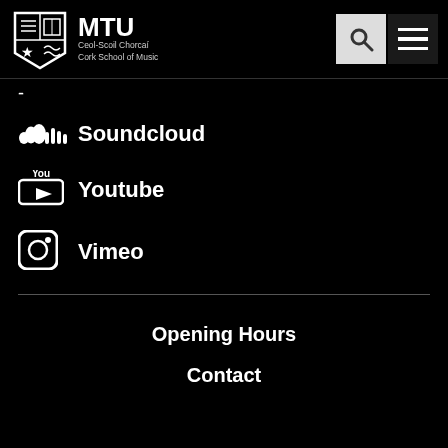MTU Cork School of Music — Ceol-Scoil Chorcaí
-
Soundcloud
Youtube
Vimeo
Opening Hours
Contact